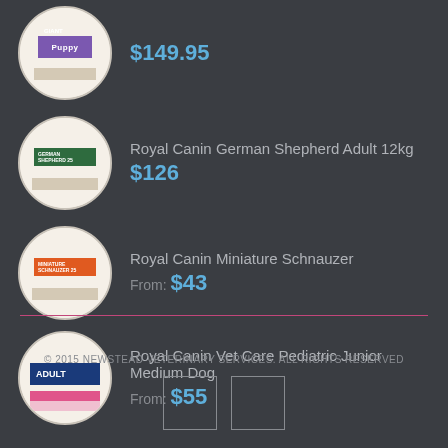$149.95
Royal Canin German Shepherd Adult 12kg $126
Royal Canin Miniature Schnauzer From: $43
Royal Canin Vet Care Pediatric Junior Medium Dog From: $55
© 2015 NEWSTEAD VETERINARY SERVICES. ALL RIGHTS RESERVED